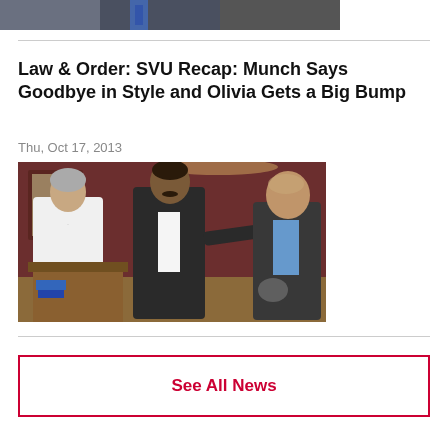[Figure (photo): Partial photo of people at top of page, cropped, dark suit visible with tie]
Law & Order: SVU Recap: Munch Says Goodbye in Style and Olivia Gets a Big Bump
Thu, Oct 17, 2013
[Figure (photo): Three men laughing together in an indoor setting with dark red walls. Left man wears white tuxedo jacket with bow tie, center man wears dark suit, right man wears dark suit with blue shirt.]
See All News